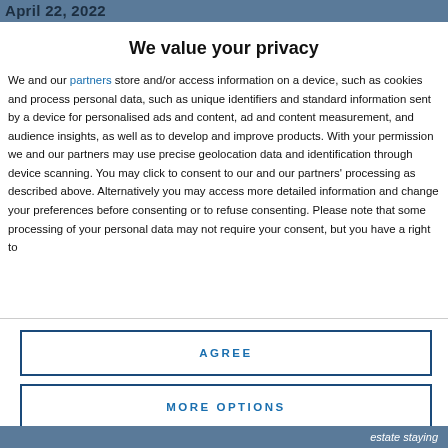April 22, 2022
We value your privacy
We and our partners store and/or access information on a device, such as cookies and process personal data, such as unique identifiers and standard information sent by a device for personalised ads and content, ad and content measurement, and audience insights, as well as to develop and improve products. With your permission we and our partners may use precise geolocation data and identification through device scanning. You may click to consent to our and our partners' processing as described above. Alternatively you may access more detailed information and change your preferences before consenting or to refuse consenting. Please note that some processing of your personal data may not require your consent, but you have a right to
AGREE
MORE OPTIONS
estate staying